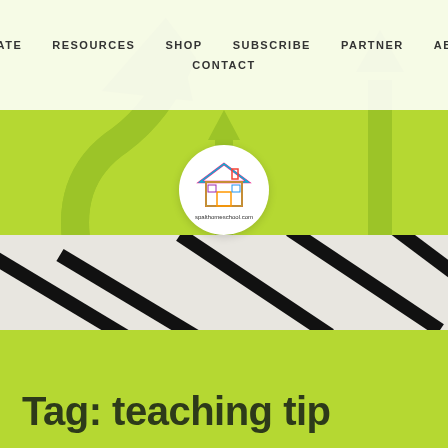DONATE   RESOURCES   SHOP   SUBSCRIBE   PARTNER   ABOUT   CONTACT
[Figure (illustration): Green banner with large arrow icons and a road/floor section with diagonal black stripes. In the center is a circular logo for spalthomeschool.com featuring a colorful house icon.]
Tag: teaching tip